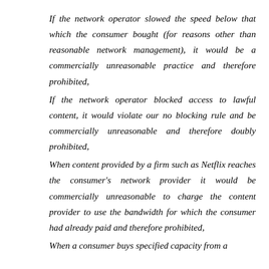If the network operator slowed the speed below that which the consumer bought (for reasons other than reasonable network management), it would be a commercially unreasonable practice and therefore prohibited,
If the network operator blocked access to lawful content, it would violate our no blocking rule and be commercially unreasonable and therefore doubly prohibited,
When content provided by a firm such as Netflix reaches the consumer's network provider it would be commercially unreasonable to charge the content provider to use the bandwidth for which the consumer had already paid and therefore prohibited,
When a consumer buys specified capacity from a